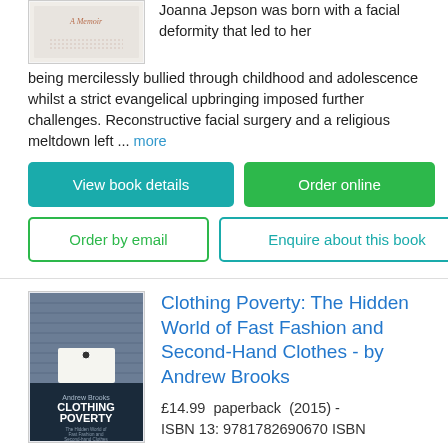Joanna Jepson was born with a facial deformity that led to her being mercilessly bullied through childhood and adolescence whilst a strict evangelical upbringing imposed further challenges. Reconstructive facial surgery and a religious meltdown left ... more
View book details
Order online
Order by email
Enquire about this book
[Figure (illustration): Book cover thumbnail for a memoir]
Clothing Poverty: The Hidden World of Fast Fashion and Second-Hand Clothes - by Andrew Brooks
£14.99  paperback  (2015) - ISBN 13: 9781782690670 ISBN
[Figure (illustration): Book cover for Clothing Poverty by Andrew Brooks showing denim fabric and a clothing label]